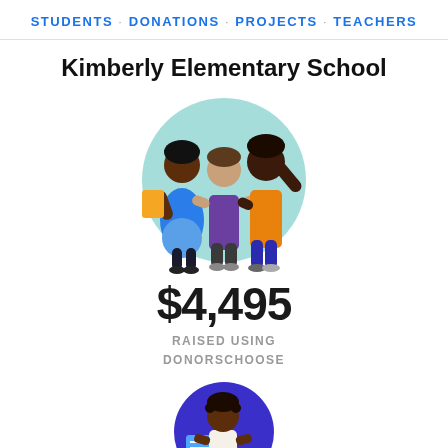STUDENTS · DONATIONS · PROJECTS · TEACHERS
Kimberly Elementary School
[Figure (illustration): Three illustrated people standing together in front of a teal circle background. A woman in blue holding a yellow book on the left, a person in purple in the center, and a man in an orange jacket with arm raised on the right.]
$4,495
RAISED USING DONORSCHOOSE
[Figure (illustration): Circular illustration of a child with braids sitting at a desk reading a book, with blue and yellow geometric shapes in the background.]